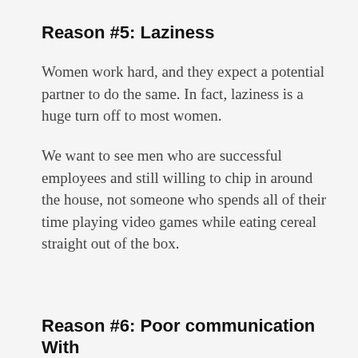Reason #5: Laziness
Women work hard, and they expect a potential partner to do the same. In fact, laziness is a huge turn off to most women.
We want to see men who are successful employees and still willing to chip in around the house, not someone who spends all of their time playing video games while eating cereal straight out of the box.
Reason #6: Poor communication With